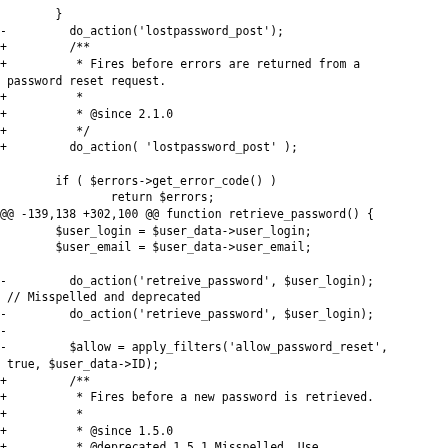Code diff showing changes to retrieve_password() function in WordPress, including additions of JSDoc comments, do_action calls, and removal of deprecated hooks.